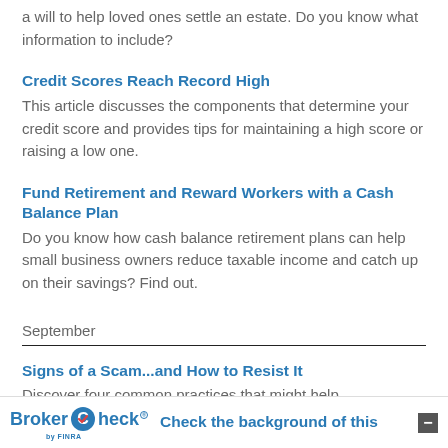a will to help loved ones settle an estate. Do you know what information to include?
Credit Scores Reach Record High
This article discusses the components that determine your credit score and provides tips for maintaining a high score or raising a low one.
Fund Retirement and Reward Workers with a Cash Balance Plan
Do you know how cash balance retirement plans can help small business owners reduce taxable income and catch up on their savings? Find out.
September
Signs of a Scam...and How to Resist It
Discover four common practices that might help
BrokerCheck by FINRA — Check the background of this